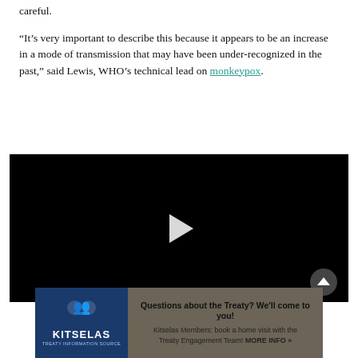careful.
“It’s very important to describe this because it appears to be an increase in a mode of transmission that may have been under-recognized in the past,” said Lewis, WHO’s technical lead on monkeypox.
[Figure (screenshot): Black video player with a white play button triangle in the center, and a scroll-to-top circular button at the bottom right.]
[Figure (infographic): Advertisement banner for Kitselas Treaty Engagement: blue logo section with Kitselas name and icon on left, tan/brown section on right with text: Questions about the Treaty? We’ll come to you! Kitselas Members: book a home visit with the Treaty Engagement Team! MORE INFO »]